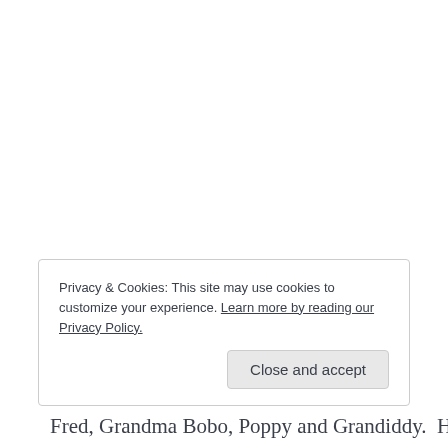Privacy & Cookies: This site may use cookies to customize your experience. Learn more by reading our Privacy Policy.
Close and accept
Fred, Grandma Bobo, Poppy and Grandiddy.  He